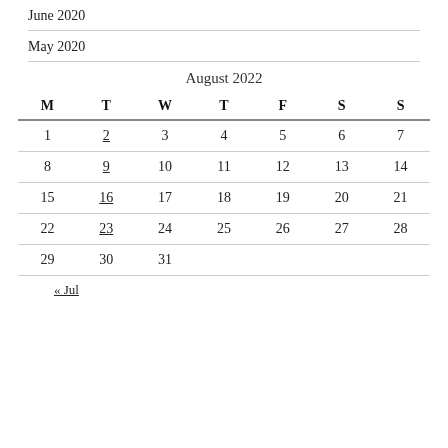June 2020
May 2020
August 2022
| M | T | W | T | F | S | S |
| --- | --- | --- | --- | --- | --- | --- |
| 1 | 2 | 3 | 4 | 5 | 6 | 7 |
| 8 | 9 | 10 | 11 | 12 | 13 | 14 |
| 15 | 16 | 17 | 18 | 19 | 20 | 21 |
| 22 | 23 | 24 | 25 | 26 | 27 | 28 |
| 29 | 30 | 31 |  |  |  |  |
« Jul